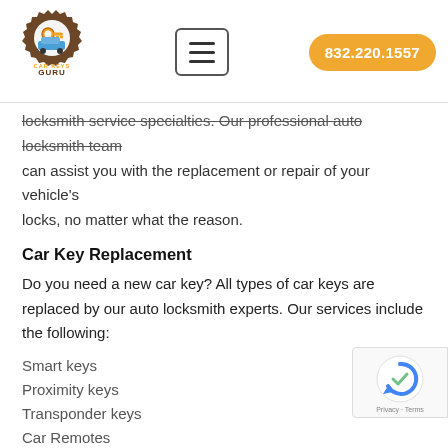[Figure (logo): Car Keys Guru logo: gear with key and car silhouette, orange and brown colors]
locksmith service specialties. Our professional auto locksmith team can assist you with the replacement or repair of your vehicle's locks, no matter what the reason.
Car Key Replacement
Do you need a new car key? All types of car keys are replaced by our auto locksmith experts. Our services include the following:
Smart keys
Proximity keys
Transponder keys
Car Remotes
Retro car keys
Whether you need to replace a key for a vehicle of any type, our